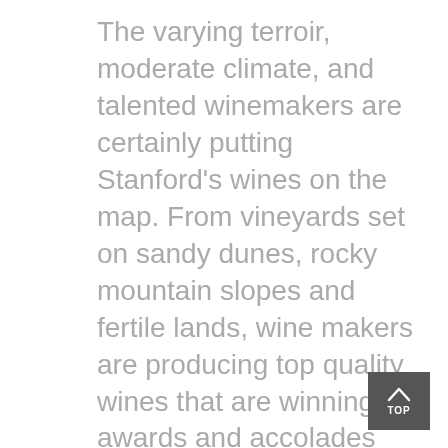The varying terroir, moderate climate, and talented winemakers are certainly putting Stanford's wines on the map. From vineyards set on sandy dunes, rocky mountain slopes and fertile lands, wine makers are producing top quality wines that are winning awards and accolades amongst those in the...